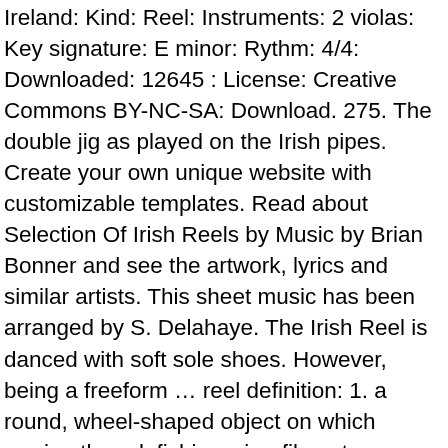Ireland: Kind: Reel: Instruments: 2 violas: Key signature: E minor: Rythm: 4/4: Downloaded: 12645 : License: Creative Commons BY-NC-SA: Download. 275. The double jig as played on the Irish pipes. Create your own unique website with customizable templates. Read about Selection Of Irish Reels by Music by Brian Bonner and see the artwork, lyrics and similar artists. This sheet music has been arranged by S. Delahaye. The Irish Reel is danced with soft sole shoes. However, being a freeform … reel definition: 1. a round, wheel-shaped object on which sewing thread, fishing wire, film, etc. Prologue. Diarmaid Ó Muirithe: I'm afraid rural dialects in the south carry a stigma of being unacceptable to educated people, whereas in the North I have heard doctors, dentists, teachers and lawyers lace their speech with either Ulster Scots or Northern Irish English. All the latest information from Racing TV. Here is an example of waistcoats we have in store We sell waistcoats completely for FREE !! Single Reels These are very simple tunes and usually easy to play. sorry , but polkas are in 2/4, and the emphasis is often on the off beat, the second beat